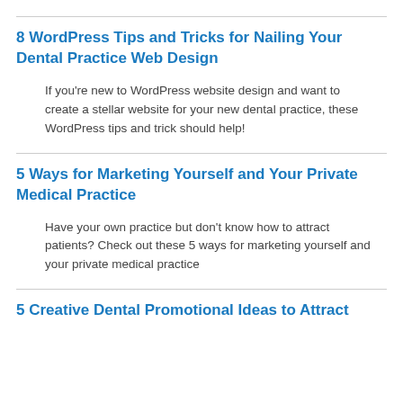8 WordPress Tips and Tricks for Nailing Your Dental Practice Web Design
If you're new to WordPress website design and want to create a stellar website for your new dental practice, these WordPress tips and trick should help!
5 Ways for Marketing Yourself and Your Private Medical Practice
Have your own practice but don't know how to attract patients? Check out these 5 ways for marketing yourself and your private medical practice
5 Creative Dental Promotional Ideas to Attract